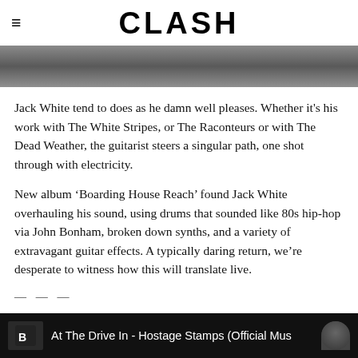CLASH
[Figure (photo): Partial photo strip showing a person, black and white tones]
Jack White tend to does as he damn well pleases. Whether it's his work with The White Stripes, or The Raconteurs or with The Dead Weather, the guitarist steers a singular path, one shot through with electricity.
New album ‘Boarding House Reach’ found Jack White overhauling his sound, using drums that sounded like 80s hip-hop via John Bonham, broken down synths, and a variety of extravagant guitar effects. A typically daring return, we’re desperate to witness how this will translate live.
— — —
At The Drive In
[Figure (screenshot): Video player bar showing: At The Drive In - Hostage Stamps (Official Mus...)]